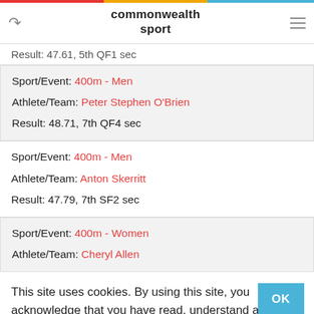commonwealth sport
Result: 47.61, 5th QF1 sec
Sport/Event: 400m - Men
Athlete/Team: Peter Stephen O'Brien
Result: 48.71, 7th QF4 sec
Sport/Event: 400m - Men
Athlete/Team: Anton Skerritt
Result: 47.79, 7th SF2 sec
Sport/Event: 400m - Women
Athlete/Team: Cheryl Allen
This site uses cookies. By using this site, you acknowledge that you have read, understand and agree with our Terms of Use.